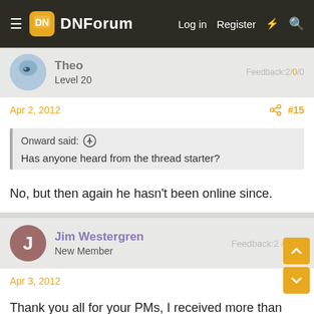DNForum | Log in | Register
Theo | Level 20 | Feedback: 2 / 0
Apr 2, 2012 | #15
Onward said: ↑
Has anyone heard from the thread starter?
No, but then again he hasn't been online since.
Jim Westergren | New Member | Feedback:2 / 0 / 0
Apr 3, 2012
Thank you all for your PMs, I received more than 100 in total from different forums. I am making a list of the